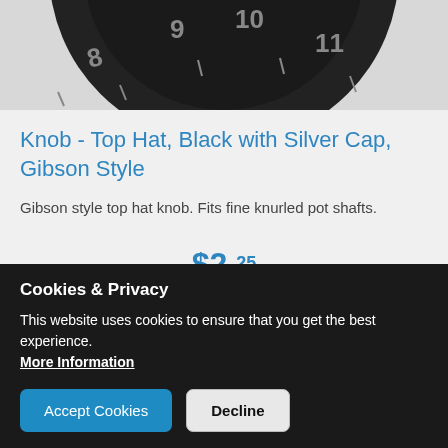[Figure (photo): Partial top-down view of a black top hat guitar knob with silver markings showing numbers 8, 9, 10, 11 around the edge]
Knob - Top Hat, Black with Silver Cap, Gibson Style
Gibson style top hat knob. Fits fine knurled pot shafts.
$2.25
Type * - Select -
Cookies & Privacy
This website uses cookies to ensure that you get the best experience. More Information
Accept Cookies
Decline